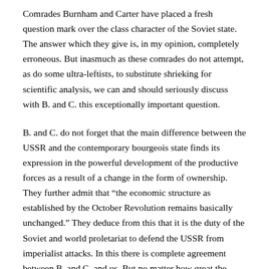Comrades Burnham and Carter have placed a fresh question mark over the class character of the Soviet state. The answer which they give is, in my opinion, completely erroneous. But inasmuch as these comrades do not attempt, as do some ultra-leftists, to substitute shrieking for scientific analysis, we can and should seriously discuss with B. and C. this exceptionally important question.
B. and C. do not forget that the main difference between the USSR and the contemporary bourgeois state finds its expression in the powerful development of the productive forces as a result of a change in the form of ownership. They further admit that “the economic structure as established by the October Revolution remains basically unchanged.” They deduce from this that it is the duty of the Soviet and world proletariat to defend the USSR from imperialist attacks. In this there is complete agreement between B. and C. and us. But no matter how great the degree of our agreement, it by no